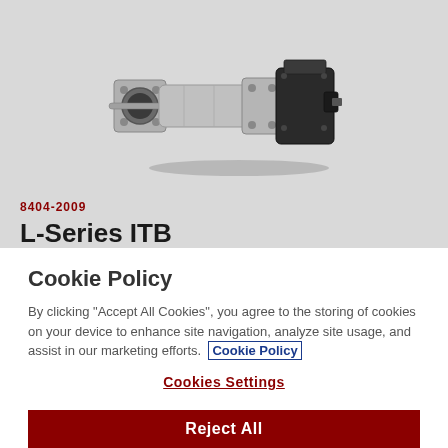[Figure (photo): Photograph of a throttle body assembly (L-Series ITB) — a metallic cylindrical component with a black actuator/motor housing on the right side, mounted on a flange plate with bolt holes.]
8404-2009
L-Series ITB
Cookie Policy
By clicking "Accept All Cookies", you agree to the storing of cookies on your device to enhance site navigation, analyze site usage, and assist in our marketing efforts.  Cookie Policy
Cookies Settings
Reject All